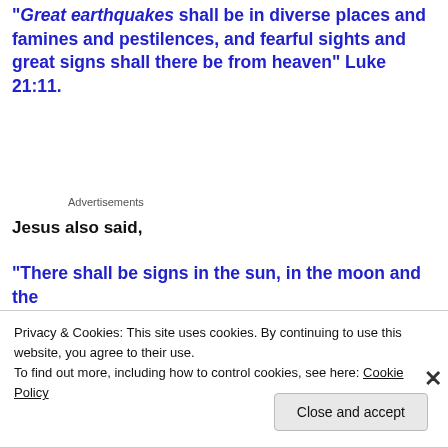“Great earthquakes shall be in diverse places and famines and pestilences, and fearful sights and great signs shall there be from heaven” Luke 21:11.
Advertisements
Jesus also said,
“There shall be signs in the sun, in the moon and the stars (we have seen this with the blood moon tetrad in
Privacy & Cookies: This site uses cookies. By continuing to use this website, you agree to their use.
To find out more, including how to control cookies, see here: Cookie Policy